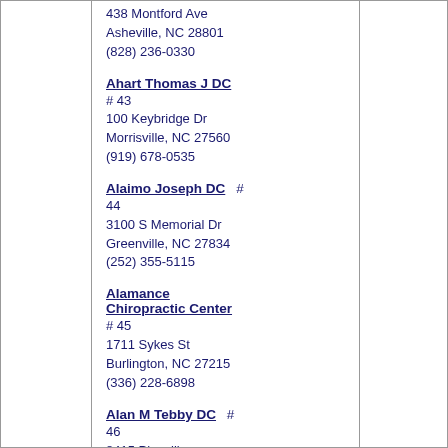438 Montford Ave
Asheville, NC 28801
(828) 236-0330
Ahart Thomas J DC
# 43
100 Keybridge Dr
Morrisville, NC 27560
(919) 678-0535
Alaimo Joseph DC  # 44
3100 S Memorial Dr
Greenville, NC 27834
(252) 355-5115
Alamance Chiropractic Center
# 45
1711 Sykes St
Burlington, NC 27215
(336) 228-6898
Alan M Tebby DC  # 46
8415 Pineville Matthews Rd
Charlotte, NC 28226
(704) 544-3494